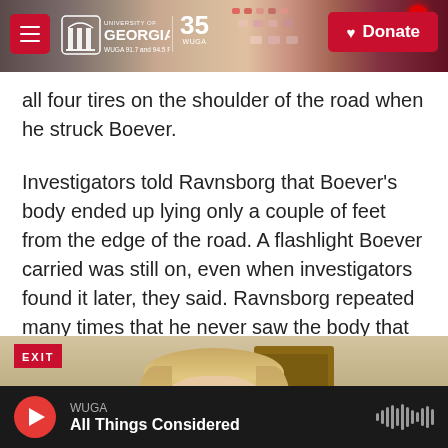[Figure (screenshot): University of Georgia WUGA 91.7 and 94.5 FM radio website header with logo, 35th anniversary badge, and red Donate button on a dark background showing radio equipment]
all four tires on the shoulder of the road when he struck Boever.
Investigators told Ravnsborg that Boever's body ended up lying only a couple of feet from the edge of the road. A flashlight Boever carried was still on, even when investigators found it later, they said. Ravnsborg repeated many times that he never saw the body that night.
[Figure (photo): Partial photo of a woman with blonde hair in an indoor setting with an EXIT sign and a wooden door visible]
WUGA
All Things Considered